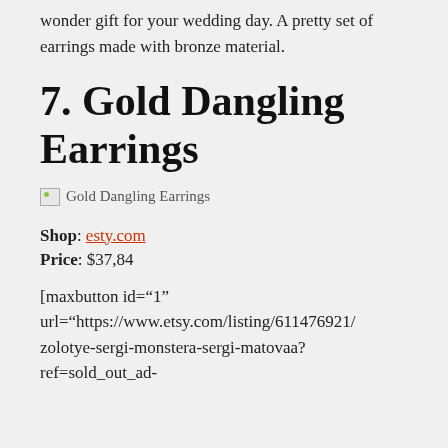wonder gift for your wedding day. A pretty set of earrings made with bronze material.
7. Gold Dangling Earrings
[Figure (photo): Broken image placeholder labeled 'Gold Dangling Earrings']
Shop: esty.com
Price: $37,84
[maxbutton id="1" url="https://www.etsy.com/listing/611476921/zolotye-sergi-monstera-sergi-matovaa?ref=sold_out_ad-